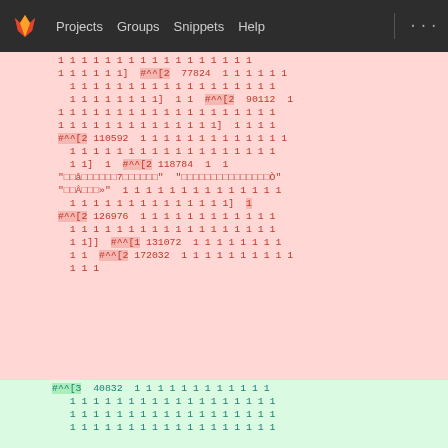Projects  Groups  Snippets  Help  ...
[Figure (screenshot): GitLab diff view showing removed lines (pink background) with teal-colored numeric 1s and red #^^ markers, and added lines (green background). Removed block spans lines with code containing #^^[2 77824, #^^[2 90112, #^^[2 110592, #^^[2 118784 with string literals in red, #^^[2 126976, #^^[1 131072, #^^[2 172032. Added block shows line 11 with + #^^[3 40832 followed by rows of 1s.]